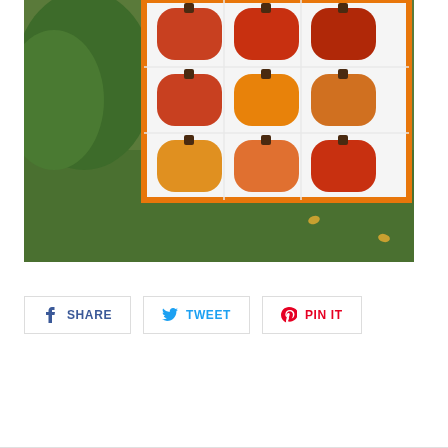[Figure (photo): A pumpkin quilt displayed outdoors on green grass. The white quilt features a 3x3 grid of 9 pumpkin blocks in orange and red tones with brown stems, surrounded by an orange border.]
[Figure (other): Social sharing buttons: Facebook SHARE (blue), Twitter TWEET (blue), Pinterest PIN IT (red), each in a bordered rectangular button with respective icons.]